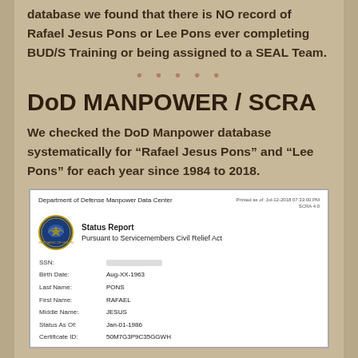database we found that there is NO record of Rafael Jesus Pons or Lee Pons ever completing BUD/S Training or being assigned to a SEAL Team.
DoD MANPOWER / SCRA
We checked the DoD Manpower database systematically for “Rafael Jesus Pons” and “Lee Pons” for each year since 1984 to 2018.
[Figure (screenshot): Department of Defense Manpower Data Center Status Report document showing SCRA status for Rafael Jesus Pons. Fields: SSN (redacted), Birth Date: Aug-XX-1963, Last Name: PONS, First Name: RAFAEL, Middle Name: JESUS, Status As Of: Jan-01-1986, Certificate ID: 50M7G3P9C35GGWH]